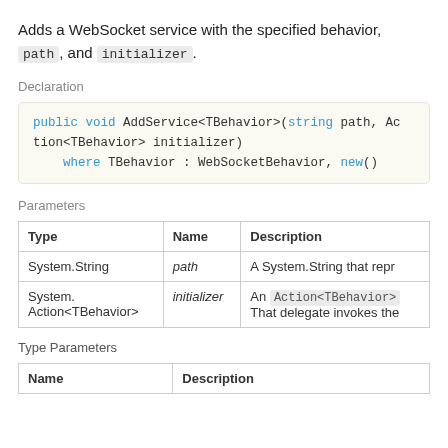Adds a WebSocket service with the specified behavior, path, and initializer.
Declaration
public void AddService<TBehavior>(string path, Action<TBehavior> initializer)
    where TBehavior : WebSocketBehavior, new()
Parameters
| Type | Name | Description |
| --- | --- | --- |
| System.String | path | A System.String that repr |
| System.
Action<TBehavior> | initializer | An Action<TBehavior>
That delegate invokes the |
Type Parameters
| Name | Description |
| --- | --- |